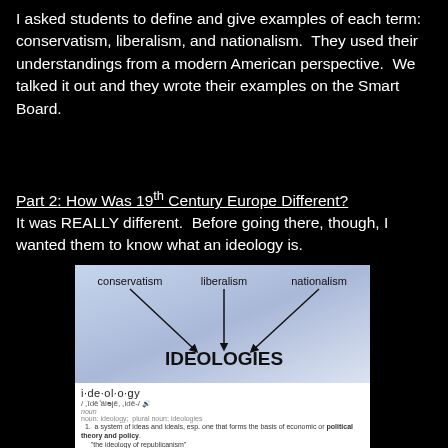I asked students to define and give examples of each term: conservatism, liberalism, and nationalism.  They used their understandings from a modern American perspective.  We talked it out and they wrote their examples on the Smart Board.
Part 2: How Was 19th Century Europe Different?
It was REALLY different.  Before going there, though, I wanted them to know what an ideology is.
[Figure (infographic): A diagram showing arrows from 'conservatism', 'liberalism', and 'nationalism' pointing down to 'IDEOLOGIES', over a blue-grey gradient background, with a dictionary definition of 'ideology' below: noun - a system of ideas and ideals, esp. one that forms the basis of economic or political theory and policy.]